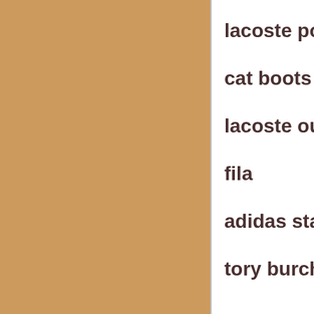[Figure (other): Large tan/caramel colored rectangular panel on the left side of the page]
lacoste pol
cat boots
lacoste out
fila
adidas stan
tory burch